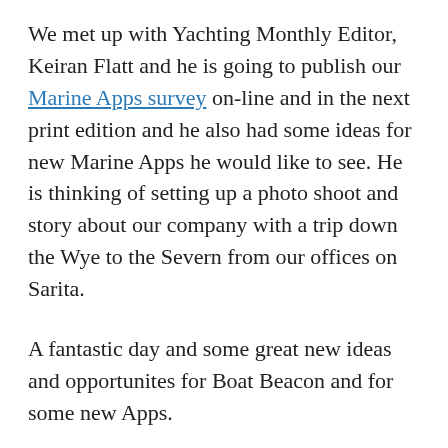We met up with Yachting Monthly Editor, Keiran Flatt and he is going to publish our Marine Apps survey on-line and in the next print edition and he also had some ideas for new Marine Apps he would like to see. He is thinking of setting up a photo shoot and story about our company with a trip down the Wye to the Severn from our offices on Sarita.
A fantastic day and some great new ideas and opportunites for Boat Beacon and for some new Apps.
September 23, 2012 / ais, Boat Beacon, boat show / Boating, Boats, GPS, Marine AIS, Marine apps, Marine Navigation, Radar, Sailing, Yachts